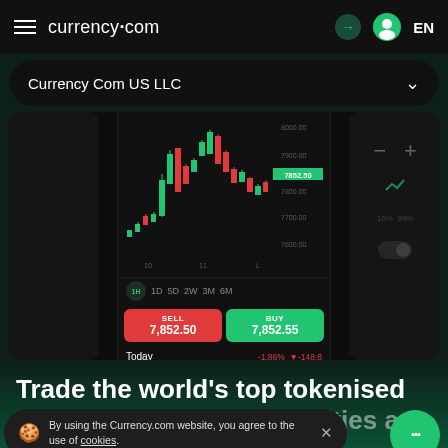currency.com  EN
Currency Com US LLC
[Figure (screenshot): Currency.com trading app screenshot showing candlestick chart with BTC price around 7852.50, SELL button at 7,852.50 and BUY button at 7,852.55, with Today -1.86% -148.8 change]
Trade the world's top tokenised stocks, indices, commodities and currencies with the help of crypto or
By using the Currency.com website, you agree to the use of cookies.